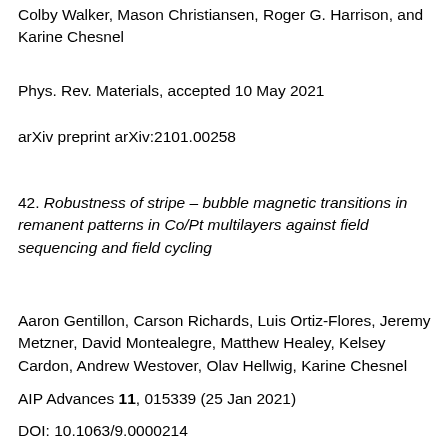Colby Walker, Mason Christiansen, Roger G. Harrison, and Karine Chesnel
Phys. Rev. Materials, accepted 10 May 2021
arXiv preprint arXiv:2101.00258
42. Robustness of stripe – bubble magnetic transitions in remanent patterns in Co/Pt multilayers against field sequencing and field cycling
Aaron Gentillon, Carson Richards, Luis Ortiz-Flores, Jeremy Metzner, David Montealegre, Matthew Healey, Kelsey Cardon, Andrew Westover, Olav Hellwig, Karine Chesnel
AIP Advances 11, 015339 (25 Jan 2021)
DOI: 10.1063/9.0000214